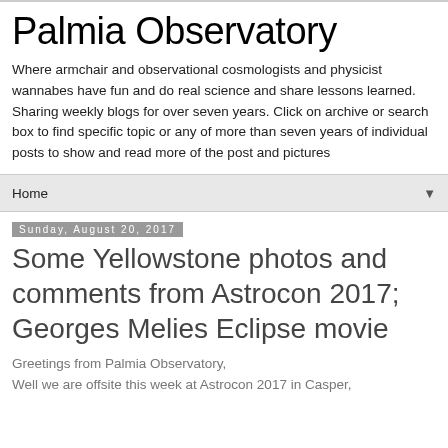Palmia Observatory
Where armchair and observational cosmologists and physicist wannabes have fun and do real science and share lessons learned. Sharing weekly blogs for over seven years. Click on archive or search box to find specific topic or any of more than seven years of individual posts to show and read more of the post and pictures
Home ▼
Sunday, August 20, 2017
Some Yellowstone photos and comments from Astrocon 2017; Georges Melies Eclipse movie
Greetings from Palmia Observatory,
Well we are offsite this week at Astrocon 2017 in Casper,